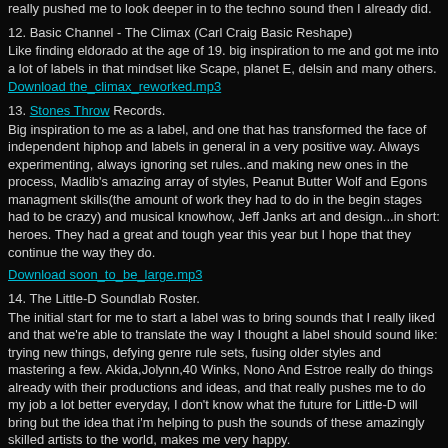really pushed me to look deeper in to the techno sound then I already did.
12. Basic Channel - The Climax (Carl Craig Basic Reshape)
Like finding eldorado at the age of 19. big inspiration to me and got me into a lot of labels in that mindset like Scape, planet E, delsin and many others.
Download the_climax_reworked.mp3
13. Stones Throw Records.
Big inspiration to me as a label, and one that has transformed the face of independent hiphop and labels in general in a very positive way. Always experimenting, always ignoring set rules..and making new ones in the process, Madlib's amazing array of styles, Peanut Butter Wolf and Egons managment skills(the amount of work they had to do in the begin stages had to be crazy) and musical knowhow, Jeff Janks art and design...in short: heroes. They had a great and tough year this year but I hope that they continue the way they do.
Download soon_to_be_large.mp3
14. The Little-D Soundlab Roster.
The initial start for me to start a label was to bring sounds that I really liked and that we're able to translate the way I thought a label should sound like: trying new things, defying genre rule sets, fusing older styles and mastering a few. Akida,Jolynn,40 Winks, Nono And Estroe really do things already with their productions and ideas, and that really pushes me to do my job a lot better everyday, I don't know what the future for Little-D will bring but the idea that i'm helping to push the sounds of these amazingly skilled artists to the world, makes me very happy.
Now-check out what the sounds above have turned out from JLS in the Little-D Soundlab.
Download Aftersurfdub.mp3